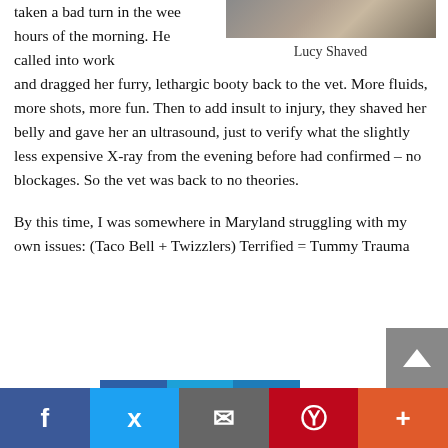taken a bad turn in the wee hours of the morning. He called into work
[Figure (photo): Photo of Lucy, a shaved dog or cat, positioned in the upper right area of the page]
Lucy Shaved
and dragged her furry, lethargic booty back to the vet. More fluids, more shots, more fun. Then to add insult to injury, they shaved her belly and gave her an ultrasound, just to verify what the slightly less expensive X-ray from the evening before had confirmed – no blockages. So the vet was back to no theories.
By this time, I was somewhere in Maryland struggling with my own issues: (Taco Bell + Twizzlers) Terrified = Tummy Trauma